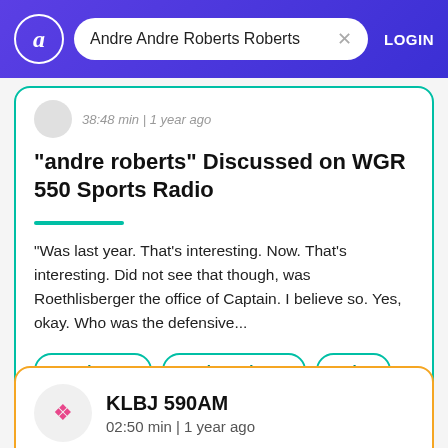Andre Andre Roberts Roberts
[Figure (screenshot): App search interface with logo, search bar showing 'Andre Andre Roberts Roberts', X button, and LOGIN link on purple gradient background]
38:48 min | 1 year ago
"andre roberts" Discussed on WGR 550 Sports Radio
"Was last year. That's interesting. Now. That's interesting. Did not see that though, was Roethlisberger the office of Captain. I believe so. Yes, okay. Who was the defensive...
Derek Watt
Andre Roberts
Tyler
KLBJ 590AM
02:50 min | 1 year ago
"andre roberts" Discussed on KLBJ...